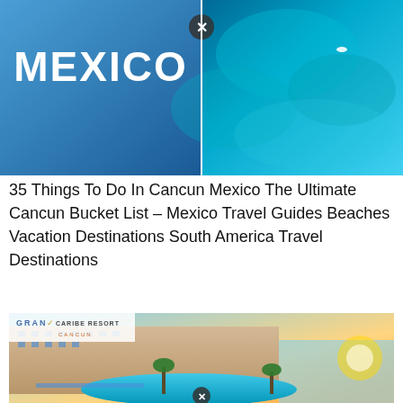[Figure (photo): Top banner image split into two parts: left side with blue background and large bold white text 'MEXICO', right side with an aerial view of turquoise blue ocean water with a swimmer visible, and a close button (X circle) overlay]
35 Things To Do In Cancun Mexico The Ultimate Cancun Bucket List – Mexico Travel Guides Beaches Vacation Destinations South America Travel Destinations
[Figure (photo): Gran Caribe Resort Cancun hotel exterior photo showing a multi-story beachfront resort with pool area, blue lounge chairs, palm trees, and ocean/sunset in the background. Gran Caribe Resort logo visible in upper left corner. Close button (X circle) overlay at bottom center.]